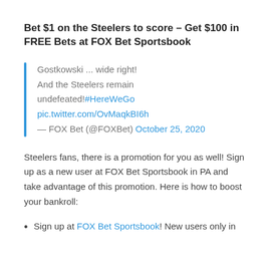Bet $1 on the Steelers to score – Get $100 in FREE Bets at FOX Bet Sportsbook
Gostkowski ... wide right!
And the Steelers remain undefeated!#HereWeGo
pic.twitter.com/OvMaqkBI6h
— FOX Bet (@FOXBet) October 25, 2020
Steelers fans, there is a promotion for you as well! Sign up as a new user at FOX Bet Sportsbook in PA and take advantage of this promotion. Here is how to boost your bankroll:
Sign up at FOX Bet Sportsbook! New users only in